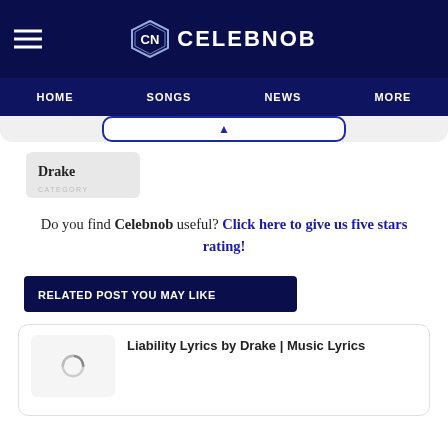CELEBNOB
HOME  SONGS  NEWS  MORE
Drake
Do you find Celebnob useful? Click here to give us five stars rating!
RELATED POST YOU MAY LIKE
Liability Lyrics by Drake | Music Lyrics